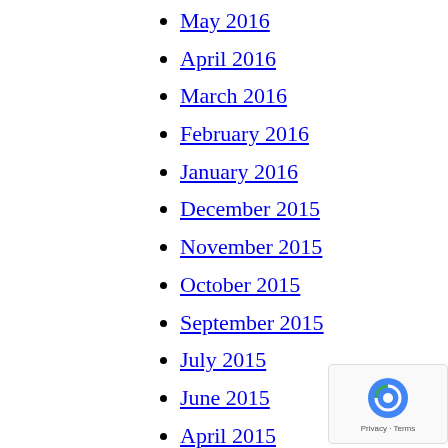May 2016
April 2016
March 2016
February 2016
January 2016
December 2015
November 2015
October 2015
September 2015
July 2015
June 2015
April 2015
March 2015
January 2015